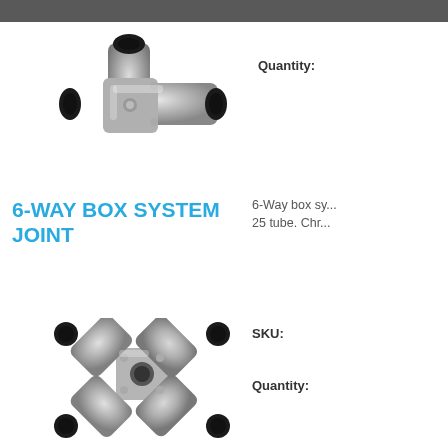[Figure (photo): Chrome/silver 3-way box system joint connector fitting, viewed from above at an angle, showing three tube entry points]
Quantity:
6-WAY BOX SYSTEM JOINT
6-Way box sy... 25 tube. Chr...
[Figure (photo): Chrome/silver 6-way box system joint connector fitting in an X/cross shape, showing four tube entry points with central hub]
SKU:
Quantity: